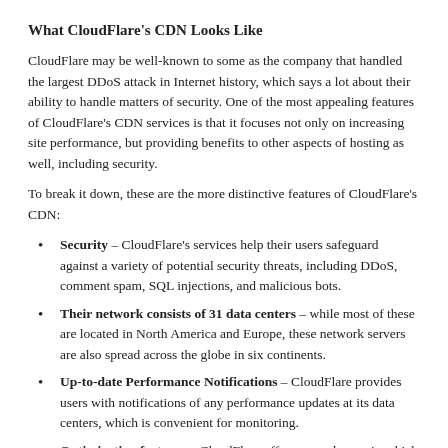What CloudFlare’s CDN Looks Like
CloudFlare may be well-known to some as the company that handled the largest DDoS attack in Internet history, which says a lot about their ability to handle matters of security. One of the most appealing features of CloudFlare’s CDN services is that it focuses not only on increasing site performance, but providing benefits to other aspects of hosting as well, including security.
To break it down, these are the more distinctive features of CloudFlare’s CDN:
Security – CloudFlare’s services help their users safeguard against a variety of potential security threats, including DDoS, comment spam, SQL injections, and malicious bots.
Their network consists of 31 data centers – while most of these are located in North America and Europe, these network servers are also spread across the globe in six continents.
Up-to-date Performance Notifications – CloudFlare provides users with notifications of any performance updates at its data centers, which is convenient for monitoring.
Optimization features – CloudFlare offers several ways in which you can optimize your website, including asynchronous resource loading, browser caching, JavaScript bundling, and cache header optimization.
Analytics Beta – You can see in the analytics of their website...